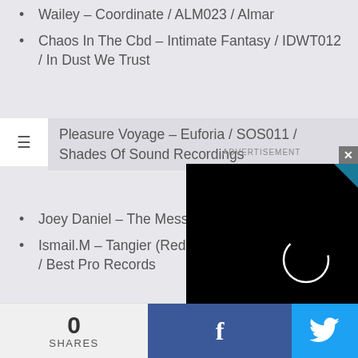Wailey – Coordinate / ALM023 / Almar
Chaos In The Cbd – Intimate Fantasy / IDWT012 / In Dust We Trust
Pleasure Voyage – Euforia / SOS011 / Shades Of Sound Recordings
Joey Daniel – The Message EP / SIO002 / SiO
Ismail.M – Tangier (Redspace Remix) / BPR038 / Best Pro Records
TRAXSOURCEMP3.COM
Traxsource YouANDme – Lost Traxx Chart
Traxsource Tech House Hidden Gems July
Traxsource Steve Bug – August Chart
Traxsource Essential Minimal D...
Traxsource Andrew Azara – Ci...
0 SHARES
[Figure (other): Advertisement black overlay with loading spinner, close button, and ADVERTISEMENT label]